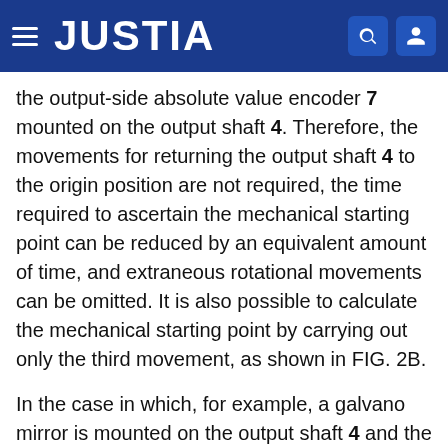JUSTIA
the output-side absolute value encoder 7 mounted on the output shaft 4. Therefore, the movements for returning the output shaft 4 to the origin position are not required, the time required to ascertain the mechanical starting point can be reduced by an equivalent amount of time, and extraneous rotational movements can be omitted. It is also possible to calculate the mechanical starting point by carrying out only the third movement, as shown in FIG. 2B.
In the case in which, for example, a galvano mirror is mounted on the output shaft 4 and the galvano mirror is rotated reciprocally at a prescribed swing angle, an end limit sensor must be mounted on the output shaft 4 in the prior art. If the present invention is applied, there is an advantage in that the device can be compactly configured because there is no requirement for an end